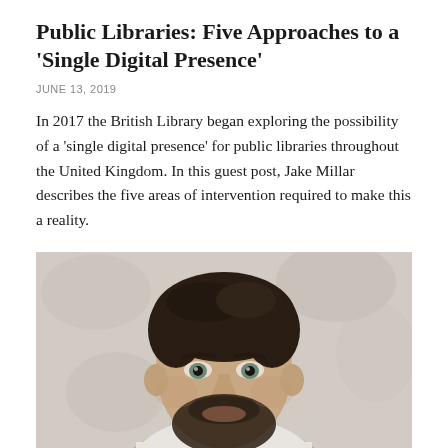Public Libraries: Five Approaches to a 'Single Digital Presence'
JUNE 13, 2019
In 2017 the British Library began exploring the possibility of a 'single digital presence' for public libraries throughout the United Kingdom. In this guest post, Jake Millar describes the five areas of intervention required to make this a reality.
[Figure (photo): Portrait photo of Jake Millar, a man with dark hair and beard, photographed against a light stone/white wall background.]